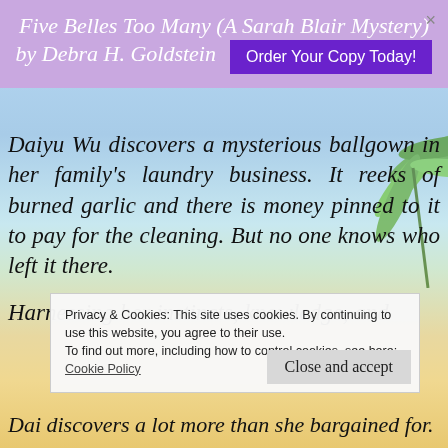Five Belles Too Many (A Sarah Blair Mystery) by Debra H. Goldstein   Order Your Copy Today!
Daiyu Wu discovers a mysterious ballgown in her family's laundry business. It reeks of burned garlic and there is money pinned to it to pay for the cleaning. But no one knows who left it there.
Harnessing her instincts, knowledge, and
Privacy & Cookies: This site uses cookies. By continuing to use this website, you agree to their use.
To find out more, including how to control cookies, see here:
Cookie Policy
Close and accept
Dai discovers a lot more than she bargained for.